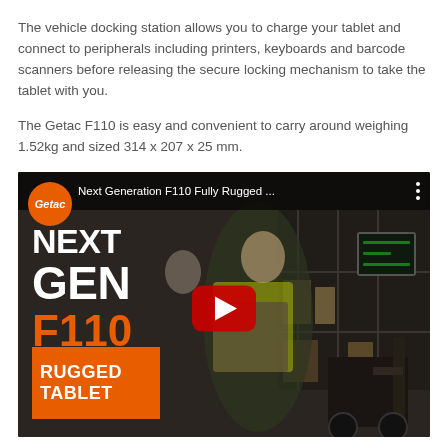The vehicle docking station allows you to charge your tablet and connect to peripherals including printers, keyboards and barcode scanners before releasing the secure locking mechanism to take the tablet with you.
The Getac F110 is easy and convenient to carry around weighing 1.52kg and sized 314 x 207 x 25 mm.
[Figure (screenshot): YouTube video thumbnail for 'Next Generation F110 Fully Rugged...' by Getac. Shows a worker in a high-visibility vest operating a forklift. Large text on left reads NEXT GEN F110 in white/orange. Orange box bottom-left reads RUGGED TABLET. Red YouTube play button in center. Getac orange logo top-left.]